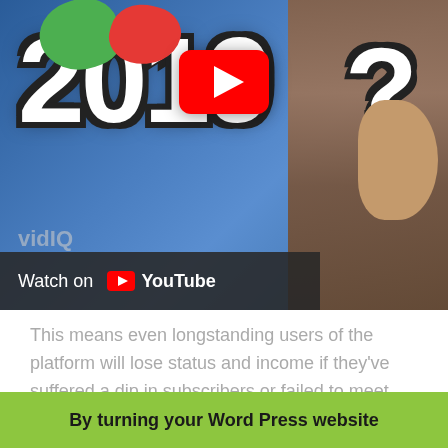[Figure (screenshot): YouTube video thumbnail showing the text '2019?' in large white letters on a blue background with green and red blobs, a YouTube play button, and a person on the right side. Below the thumbnail is a 'Watch on YouTube' bar.]
This means even longstanding users of the platform will lose status and income if they've suffered a dip in subscribers or failed to meet other criteria.
By turning your Word Press website